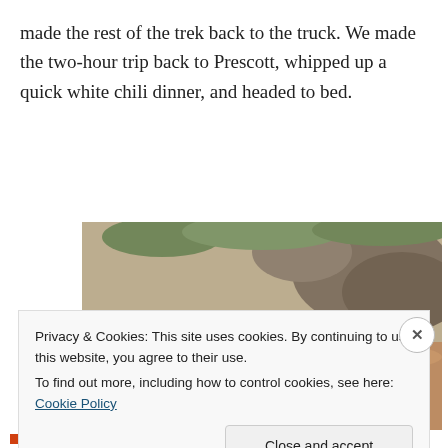made the rest of the trek back to the truck. We made the two-hour trip back to Prescott, whipped up a quick white chili dinner, and headed to bed.
[Figure (photo): A person wearing a white baseball cap with a logo, smiling, partially visible among rocks and desert terrain with vegetation in the background.]
Privacy & Cookies: This site uses cookies. By continuing to use this website, you agree to their use.
To find out more, including how to control cookies, see here: Cookie Policy
Close and accept